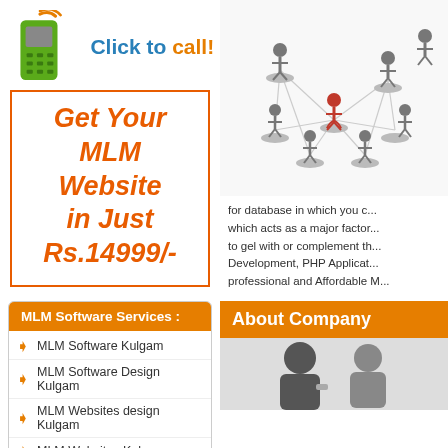[Figure (illustration): Green mobile phone icon with signal waves]
Click to call!
Get Your MLM Website in Just Rs.14999/-
MLM Software Services :
MLM Software Kulgam
MLM Software Design Kulgam
MLM Websites design Kulgam
MLM Websites Kulgam
MLM Software Developer Kulgam
[Figure (illustration): Network of people figures connected in a web, with one red figure highlighted]
for database in which you c... which acts as a major factor... to gel with or complement th... Development, PHP Applicat... professional and Affordable M...
About Company
[Figure (photo): Two business people, a man and a woman, smiling]